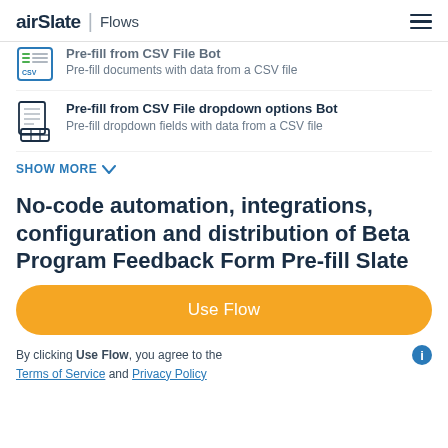airSlate | Flows
Pre-fill from CSV File Bot — Pre-fill documents with data from a CSV file
Pre-fill from CSV File dropdown options Bot — Pre-fill dropdown fields with data from a CSV file
SHOW MORE
No-code automation, integrations, configuration and distribution of Beta Program Feedback Form Pre-fill Slate
Use Flow
By clicking Use Flow, you agree to the Terms of Service and Privacy Policy